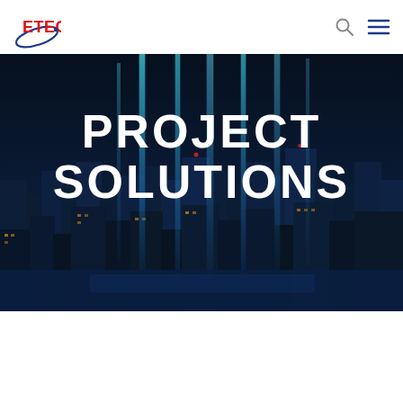ETECH
[Figure (illustration): Dark nighttime cityscape with blue glowing vertical light beams rising from buildings, futuristic technology overlay]
PROJECT SOLUTIONS